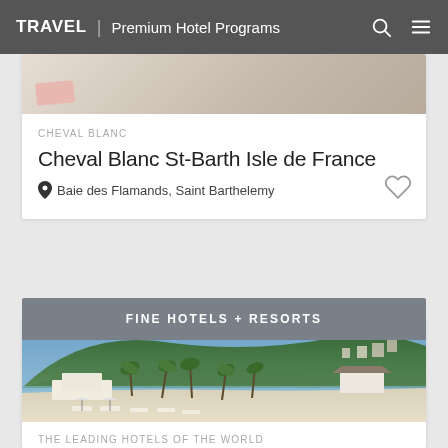TRAVEL | Premium Hotel Programs
CHEVAL BLANC
Cheval Blanc St-Barth Isle de France
Baie des Flamands, Saint Barthelemy
FINE HOTELS + RESORTS
[Figure (photo): Aerial beach resort view with palm trees, white loungers, and green hillside in background]
THE LEADING HOTELS OF THE WORLD